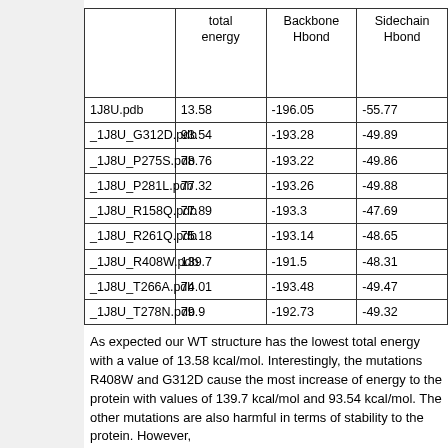|  | total energy | Backbone Hbond | Sidechain Hbond |
| --- | --- | --- | --- |
| 1J8U.pdb | 13.58 | -196.05 | -55.77 |
| _1J8U_G312D.pdb | 93.54 | -193.28 | -49.89 |
| _1J8U_P275S.pdb | 78.76 | -193.22 | -49.86 |
| _1J8U_P281L.pdb | 77.32 | -193.26 | -49.88 |
| _1J8U_R158Q.pdb | 77.89 | -193.3 | -47.69 |
| _1J8U_R261Q.pdb | 75.18 | -193.14 | -48.65 |
| _1J8U_R408W.pdb | 139.7 | -191.5 | -48.31 |
| _1J8U_T266A.pdb | 74.01 | -193.48 | -49.47 |
| _1J8U_T278N.pdb | 79.9 | -192.73 | -49.32 |
As expected our WT structure has the lowest total energy with a value of 13.58 kcal/mol. Interestingly, the mutations R408W and G312D cause the most increase of energy to the protein with values of 139.7 kcal/mol and 93.54 kcal/mol. The other mutations are also harmful in terms of stability to the protein. However,